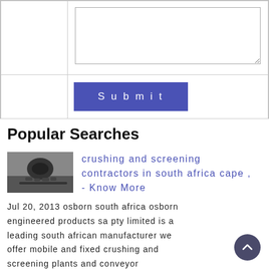|  | (textarea) |
|  | Submit |
Popular Searches
[Figure (photo): Thumbnail image of crushing and screening machinery]
crushing and screening contractors in south africa cape , - Know More
Jul 20, 2013 osborn south africa osborn engineered products sa pty limited is a leading south african manufacturer we offer mobile and fixed crushing and screening plants and conveyor